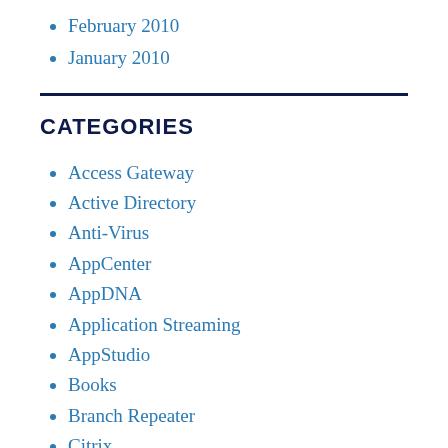February 2010
January 2010
CATEGORIES
Access Gateway
Active Directory
Anti-Virus
AppCenter
AppDNA
Application Streaming
AppStudio
Books
Branch Repeater
Citrix